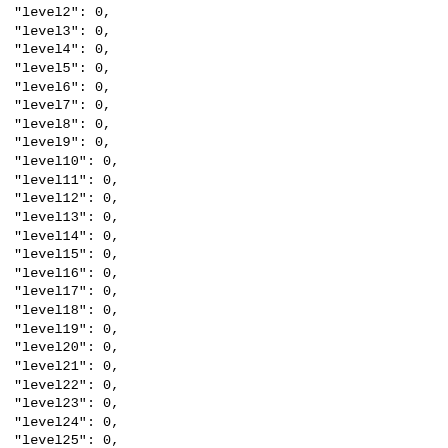"level2": 0,
"level3": 0,
"level4": 0,
"level5": 0,
"level6": 0,
"level7": 0,
"level8": 0,
"level9": 0,
"level10": 0,
"level11": 0,
"level12": 0,
"level13": 0,
"level14": 0,
"level15": 0,
"level16": 0,
"level17": 0,
"level18": 0,
"level19": 0,
"level20": 0,
"level21": 0,
"level22": 0,
"level23": 0,
"level24": 0,
"level25": 0,
"level26": 0,
"level27": 0,
"level28": 0,
"level29": 0,
"level30": 0,
"level31": 0,
"level32": 0,